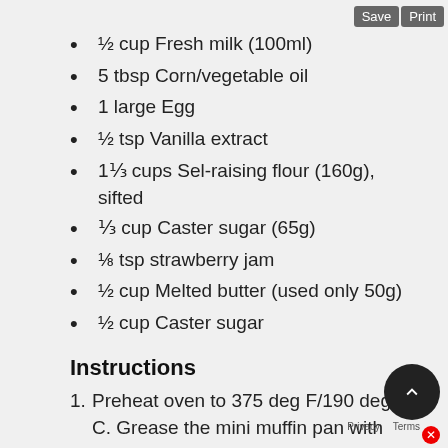Save  Print
½ cup Fresh milk (100ml)
5 tbsp Corn/vegetable oil
1 large Egg
½ tsp Vanilla extract
1⅓ cups Sel-raising flour (160g), sifted
⅓ cup Caster sugar (65g)
⅛ tsp strawberry jam
½ cup Melted butter (used only 50g)
½ cup Caster sugar
Instructions
1. Preheat oven to 375 deg F/190 deg C. Grease the mini muffin pan with